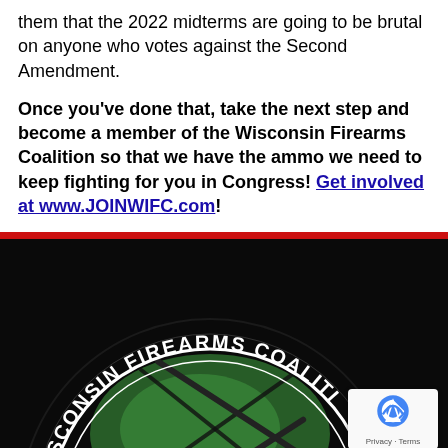them that the 2022 midterms are going to be brutal on anyone who votes against the Second Amendment.
Once you've done that, take the next step and become a member of the Wisconsin Firearms Coalition so that we have the ammo we need to keep fighting for you in Congress! Get involved at www.JOINWIFC.com!
[Figure (logo): Wisconsin Firearms Coalition circular logo on black background, showing rifle crossed over a map graphic with white text reading WISCONSIN FIREARMS COALITION along the arc, partially cropped. A reCAPTCHA privacy badge appears in the bottom right corner.]